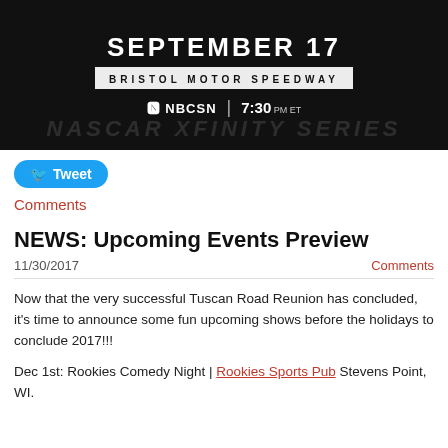[Figure (photo): Dark background promotional image for NASCAR Xfinity Series race on September 17 at Bristol Motor Speedway, showing NBCSN logo and 7:30 PM ET time, with 'NASCAR XFINITY SERIES' watermark text at bottom]
Tweet
Comments
NEWS: Upcoming Events Preview
11/30/2017
Comments
Now that the very successful Tuscan Road Reunion has concluded, it's time to announce some fun upcoming shows before the holidays to conclude 2017!!!
Dec 1st: Rookies Comedy Night | Rookies Sports Pub Stevens Point, WI.